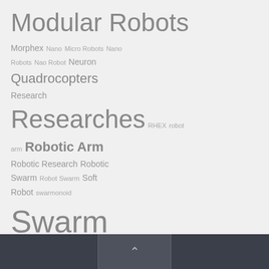[Figure (other): Tag cloud of robotics-related topics rendered in varying font sizes indicating relative frequency/importance. Left column contains: Modular Robots (large), Morphex Nano Micro Robots Nano Robots Nao Robot Neuron (small), Quadrocopters (medium-large), Research (medium), Researches (large), RHEX robot arm (small-medium), Robotic Arm (large), Robotic Research Robotic Swarm Robot Swarm (medium), Soft Robot swarmonoid (medium-small), Swarm Robotics (very large), theo jansen mechanism (small). The right portion of the page is empty/white.]
^ (back to top chevron button)